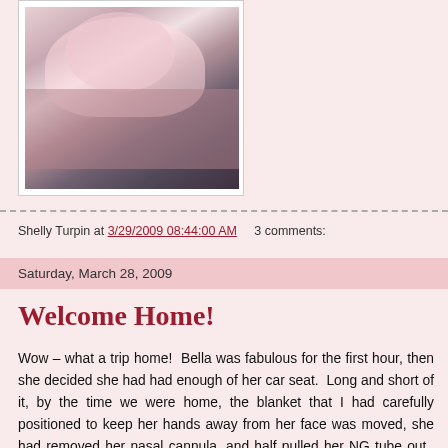[Figure (photo): Photo of a baby wrapped in pink blanket with medical tubing, being held by an adult]
Shelly Turpin at 3/29/2009 08:44:00 AM    3 comments:
Saturday, March 28, 2009
Welcome Home!
Wow – what a trip home!  Bella was fabulous for the first hour, then she decided she had had enough of her car seat.  Long and short of it, by the time we were home, the blanket that I had carefully positioned to keep her hands away from her face was moved, she had removed her nasal cannula, and half pulled her NG tube out.  Did I mention that the pulse-ox was beeping its warning for about half of the trip?  I had no tape to reposition everything, so I drove with one hand on the steering wheel and one hand holding